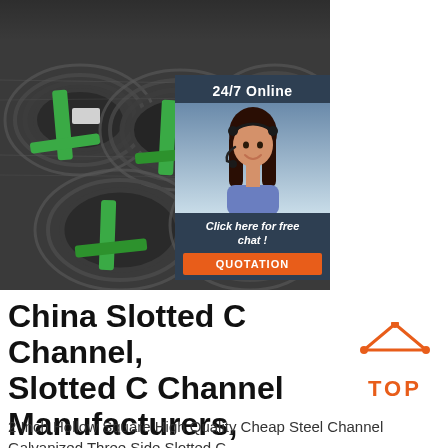[Figure (photo): Photo of bundled steel wire coils with green plastic straps, stacked in a warehouse setting. Small inset image of a support agent with headset and '24/7 Online' text, 'Click here for free chat!' text, and an orange 'QUOTATION' button.]
China Slotted C Channel, Slotted C Channel Manufacturers,
[Figure (logo): Orange 'TOP' logo with triangle/arrow icon above the text]
2 Inch Hollow Square High Quality Cheap Steel Channel Galvanized Three Side Slotted C